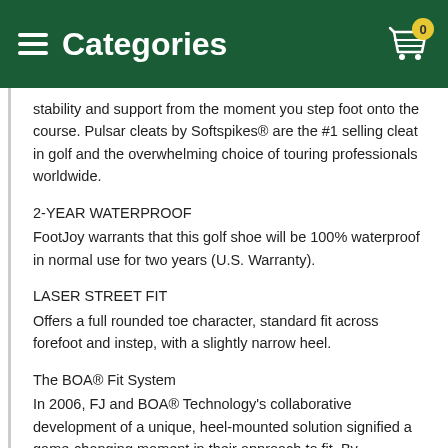Categories
stability and support from the moment you step foot onto the course. Pulsar cleats by Softspikes® are the #1 selling cleat in golf and the overwhelming choice of touring professionals worldwide.
2-YEAR WATERPROOF
FootJoy warrants that this golf shoe will be 100% waterproof in normal use for two years (U.S. Warranty).
LASER STREET FIT
Offers a full rounded toe character, standard fit across forefoot and instep, with a slightly narrow heel.
The BOA® Fit System
In 2006, FJ and BOA® Technology's collaborative development of a unique, heel-mounted solution signified a game-changing moment in their approach to fit. By integrating the BOA® dial into the heel of the shoe, BOA® and FJ designers were able to effectively develop a "down and back" fit that encompasses both the forefoot and heel. In action, the integration of the BOA® Fit System has been credited by many FJ + BOA® loyalists for providing a performance fit that offers precision, stability, and power.